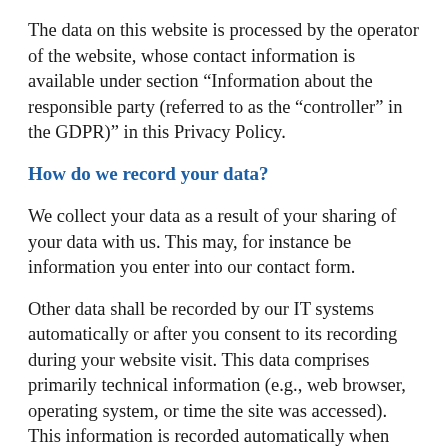The data on this website is processed by the operator of the website, whose contact information is available under section “Information about the responsible party (referred to as the “controller” in the GDPR)” in this Privacy Policy.
How do we record your data?
We collect your data as a result of your sharing of your data with us. This may, for instance be information you enter into our contact form.
Other data shall be recorded by our IT systems automatically or after you consent to its recording during your website visit. This data comprises primarily technical information (e.g., web browser, operating system, or time the site was accessed). This information is recorded automatically when